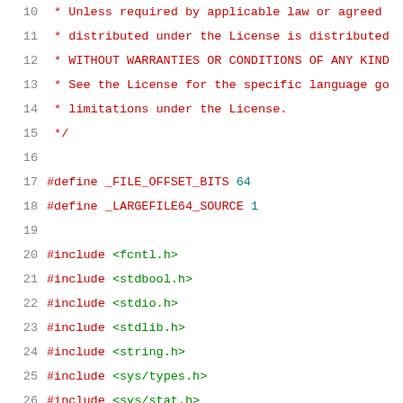Source code listing lines 10-31 showing C preprocessor directives and includes
10  * Unless required by applicable law or agreed
11  * distributed under the License is distributed
12  * WITHOUT WARRANTIES OR CONDITIONS OF ANY KIND
13  * See the License for the specific language gov
14  * limitations under the License.
15  */
16
17  #define _FILE_OFFSET_BITS 64
18  #define _LARGEFILE64_SOURCE 1
19
20  #include <fcntl.h>
21  #include <stdbool.h>
22  #include <stdio.h>
23  #include <stdlib.h>
24  #include <string.h>
25  #include <sys/types.h>
26  #include <sys/stat.h>
27  #include <sys/types.h>
28  #include <unistd.h>
29
30  #include <sparse/sparse.h>
31